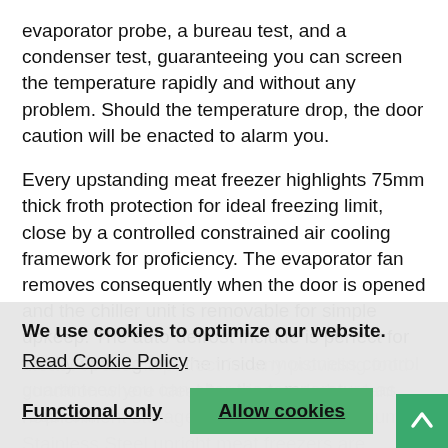evaporator probe, a bureau test, and a condenser test, guaranteeing you can screen the temperature rapidly and without any problem. Should the temperature drop, the door caution will be enacted to alarm you.
Every upstanding meat freezer highlights 75mm thick froth protection for ideal freezing limit, close by a controlled constrained air cooling framework for proficiency. The evaporator fan removes consequently when the door is opened and the chiller unit is removable for simple upkeep. The auto-defrost include is perfect for vitality sparing and the inside moistness control guarantees you can alter the temperature as required.
We use cookies to optimize our website.
Read Cookie Policy
Meat Freezer is perfect for any providing food condition where ideal freezing and abundant nourishment storage are basic. Our Premium Stainless Steel upright meat freezers are completely working in the warmth of a bustling kitchen, working up to a
Functional only
Allow cookies